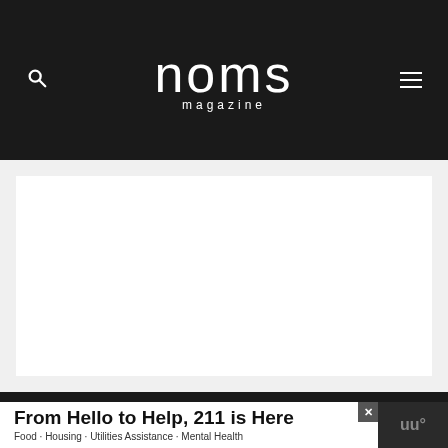noms magazine
[Figure (other): Large white content area placeholder on light grey background, part of a web page layout]
From Hello to Help, 211 is Here
Food · Housing · Utilities Assistance · Mental Health